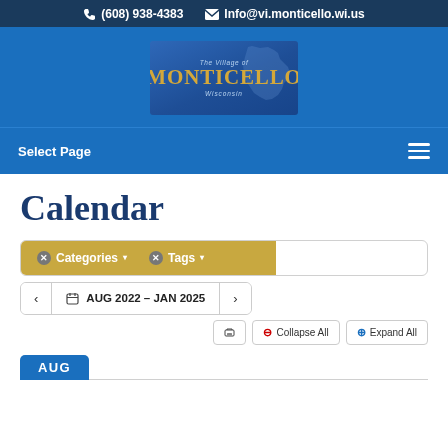(608) 938-4383  Info@vi.monticello.wi.us
[Figure (logo): The Village of Monticello Wisconsin logo — blue background with state of Wisconsin silhouette, gold 'MONTICELLO' text]
Select Page
Calendar
⊗ Categories ▾   ⊗ Tags ▾
< 🗓 AUG 2022 – JAN 2025 >
🖨  ⊖ Collapse All  ⊕ Expand All
AUG